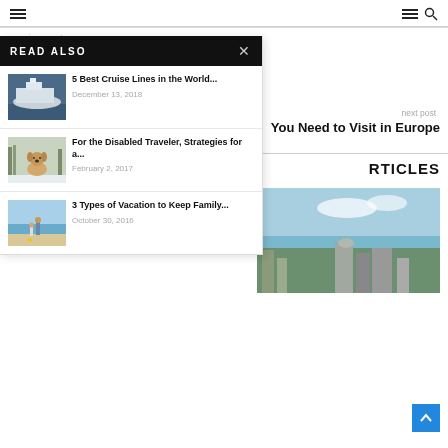☰  ☰ 🔍
previous post
READ ALSO
5 Best Cruise Lines in the World... December 13, 2018
For the Disabled Traveler, Strategies for a... February 2, 2017
3 Types of Vacation to Keep Family... October 30, 2016
next post
You Need to Visit in Europe
RTICLES
[Figure (photo): Aerial city view with buildings and water]
[Figure (photo): Cruise ship aerial view]
[Figure (photo): Dog in snowy forest]
[Figure (photo): People on beach]